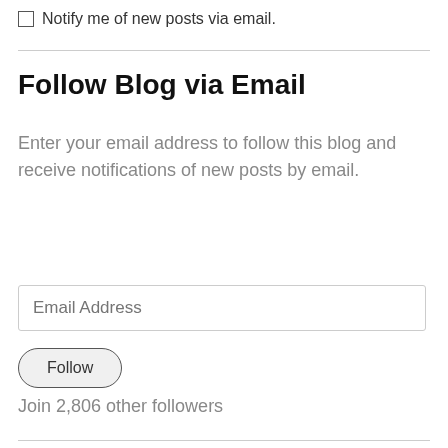Notify me of new posts via email.
Follow Blog via Email
Enter your email address to follow this blog and receive notifications of new posts by email.
Email Address
Follow
Join 2,806 other followers